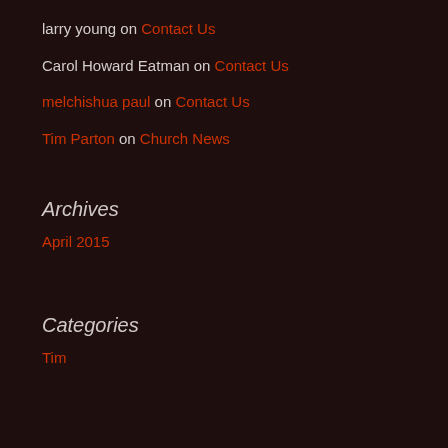larry young on Contact Us
Carol Howard Eatman on Contact Us
melchishua paul on Contact Us
Tim Parton on Church News
Archives
April 2015
Categories
Tim